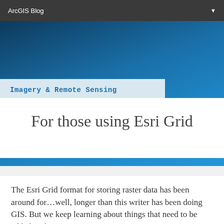ArcGIS Blog
[Figure (illustration): Blue gradient hero banner background for ArcGIS Blog article header]
Imagery & Remote Sensing
For those using Esri Grid
The Esri Grid format for storing raster data has been around for…well, longer than this writer has been doing GIS. But we keep learning about things that need to be added to the